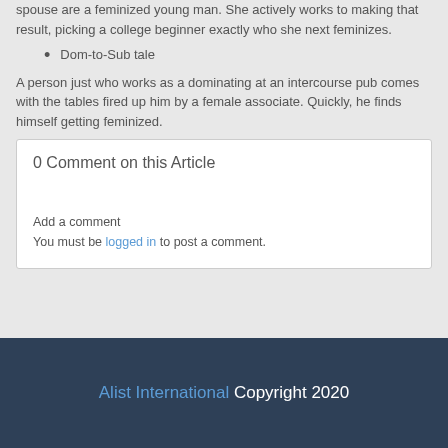spouse are a feminized young man. She actively works to making that result, picking a college beginner exactly who she next feminizes.
Dom-to-Sub tale
A person just who works as a dominating at an intercourse pub comes with the tables fired up him by a female associate. Quickly, he finds himself getting feminized.
0 Comment on this Article
Add a comment
You must be logged in to post a comment.
Alist International Copyright 2020